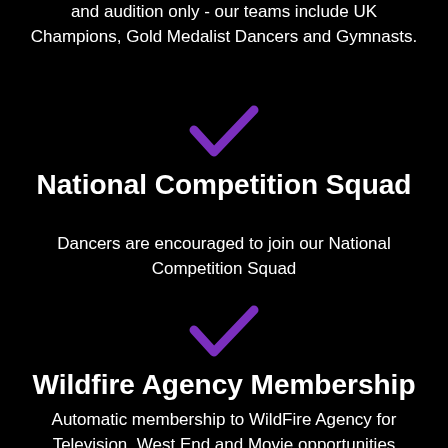and audition only - our teams include UK Champions, Gold Medalist Dancers and Gymnasts.
[Figure (illustration): Purple checkmark symbol]
National Competition Squad
Dancers are encouraged to join our National Competition Squad
[Figure (illustration): Purple checkmark symbol]
Wildfire Agency Membership
Automatic membership to WildFire Agency for Television, West End and Movie opportunities